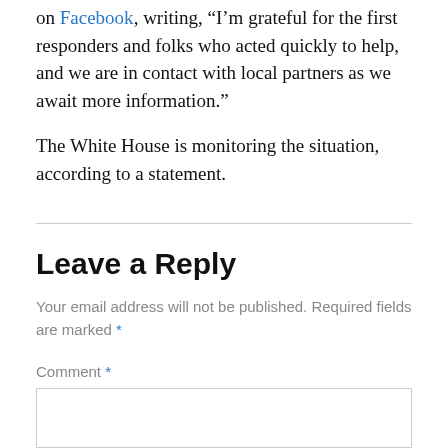on Facebook, writing, “I’m grateful for the first responders and folks who acted quickly to help, and we are in contact with local partners as we await more information.”
The White House is monitoring the situation, according to a statement.
Leave a Reply
Your email address will not be published. Required fields are marked *
Comment *